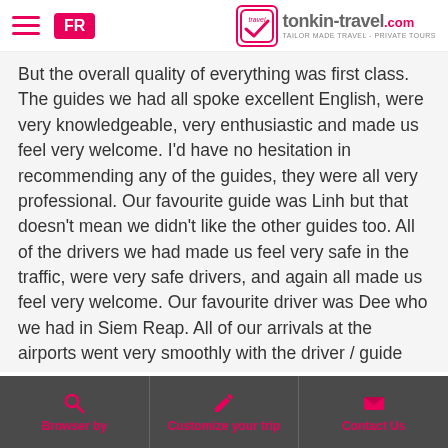FR | tonkin-travel.com TAILOR MADE TRAVEL - PRIVATE TOURS
But the overall quality of everything was first class. The guides we had all spoke excellent English, were very knowledgeable, very enthusiastic and made us feel very welcome. I'd have no hesitation in recommending any of the guides, they were all very professional. Our favourite guide was Linh but that doesn't mean we didn't like the other guides too. All of the drivers we had made us feel very safe in the traffic, were very safe drivers, and again all made us feel very welcome. Our favourite driver was Dee who we had in Siem Reap. All of our arrivals at the airports went very smoothly with the driver / guide very easy to spot and very welcoming.
All of the hotels we stayed in were excellent. If I had to try and find any areas for improvements I could identify a few
Browser by | Customize your trip | Contact Us